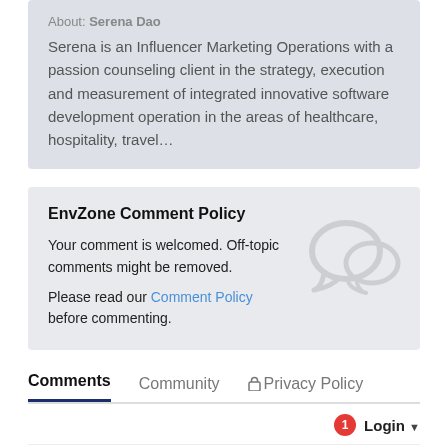About: Serena Dao
Serena is an Influencer Marketing Operations with a passion counseling client in the strategy, execution and measurement of integrated innovative software development operation in the areas of healthcare, hospitality, travel...
EnvZone Comment Policy
Your comment is welcomed. Off-topic comments might be removed.
Please read our Comment Policy before commenting.
Comments   Community   🔒 Privacy Policy
1  Login ▾
♥ Favorite   Sort by Best ▾
Start the discussion...